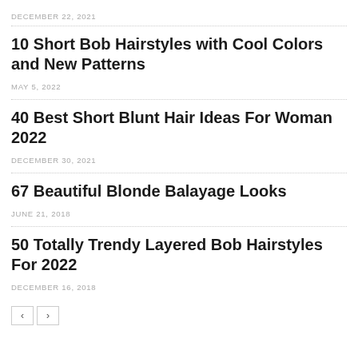DECEMBER 22, 2021
10 Short Bob Hairstyles with Cool Colors and New Patterns
MAY 5, 2022
40 Best Short Blunt Hair Ideas For Woman 2022
DECEMBER 30, 2021
67 Beautiful Blonde Balayage Looks
JUNE 21, 2018
50 Totally Trendy Layered Bob Hairstyles For 2022
DECEMBER 16, 2018